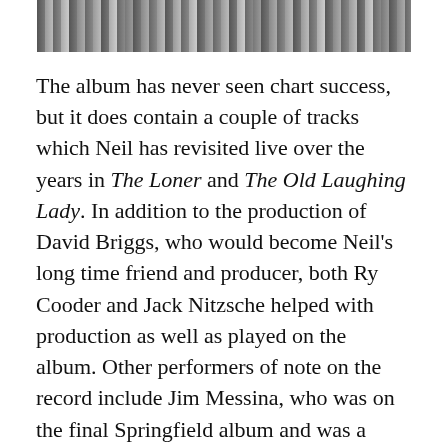[Figure (photo): Black and white photo strip at the top of the page]
The album has never seen chart success, but it does contain a couple of tracks which Neil has revisited live over the years in The Loner and The Old Laughing Lady. In addition to the production of David Briggs, who would become Neil's long time friend and producer, both Ry Cooder and Jack Nitzsche helped with production as well as played on the album. Other performers of note on the record include Jim Messina, who was on the final Springfield album and was a founding member of Poco around this time, George Grantham (Poco's drummer), legendary session bassist Carol Kaye of LA's Wrecking Crew, and soul and gospel singer Merry Clayton, perhaps best